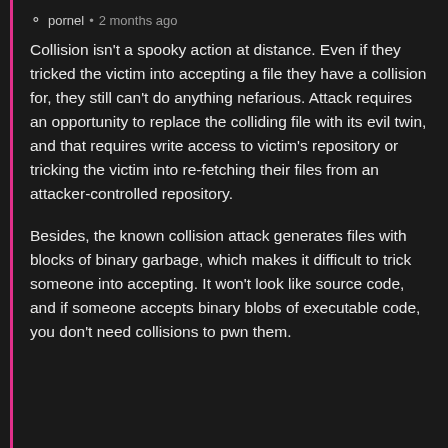pornel · 2 months ago
Collision isn't a spooky action at distance. Even if they tricked the victim into accepting a file they have a collision for, they still can't do anything nefarious. Attack requires an opportunity to replace the colliding file with its evil twin, and that requires write access to victim's repository or tricking the victim into re-fetching their files from an attacker-controlled repository.
Besides, the known collision attack generates files with blocks of binary garbage, which makes it difficult to trick someone into accepting. It won't look like source code, and if someone accepts binary blobs of executable code, you don't need collisions to pwn them.